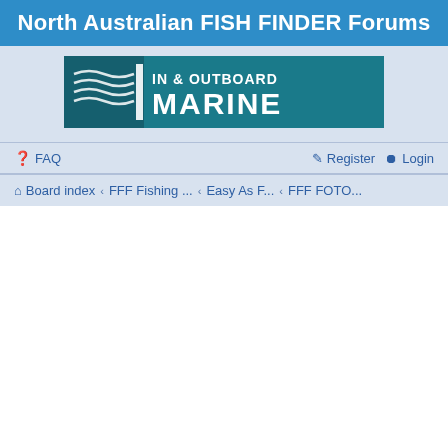North Australian FISH FINDER Forums
[Figure (logo): In & Outboard Marine banner logo with wave design and teal background]
FAQ  Register  Login
Board index ‹ FFF Fishing ... ‹ Easy As F... ‹ FFF FOTO...